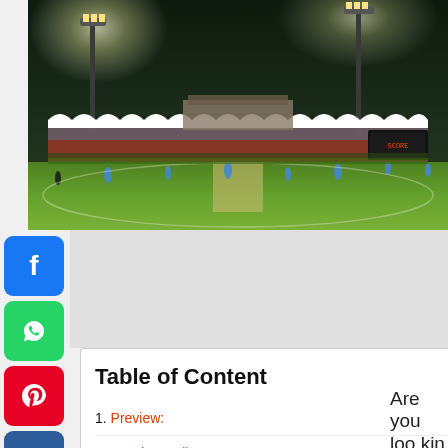[Figure (photo): Cricket stadium at night with floodlights illuminating a green pitch, stands visible in the background, players on the field]
Table of Content
1. Preview:
2. Match Details:
3. TIT vs EAG, Match 31, Pitch Report:
Are you looking for